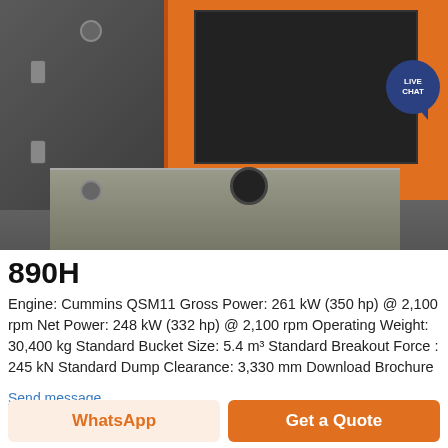[Figure (photo): Close-up photo of an industrial machine (wheel loader or similar heavy equipment) in orange and grey/dark metallic color. The machine's engine compartment door is open, showing black internal components and machinery. A 'LIVE CHAT' badge appears in the upper right corner.]
890H
Engine: Cummins QSM11 Gross Power: 261 kW (350 hp) @ 2,100 rpm Net Power: 248 kW (332 hp) @ 2,100 rpm Operating Weight: 30,400 kg Standard Bucket Size: 5.4 m³ Standard Breakout Force : 245 kN Standard Dump Clearance: 3,330 mm Download Brochure
Send message